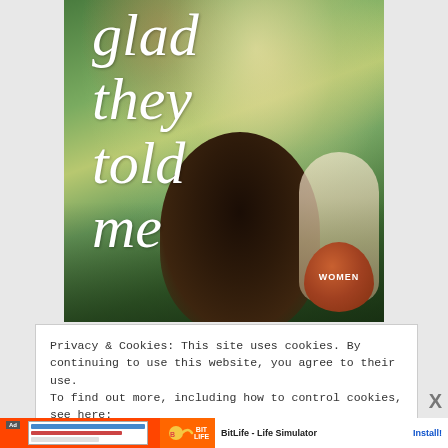[Figure (illustration): Book cover image showing two people lying on grass looking up at trees, with large italic white serif text reading 'glad they told me' and a brown WOMEN badge in the lower right corner]
Privacy & Cookies: This site uses cookies. By continuing to use this website, you agree to their use.
To find out more, including how to control cookies, see here: Cookie Policy
[Figure (screenshot): Ad banner for BitLife - Life Simulator app showing a screenshot thumbnail of the app, BitLife logo with sperm icon on orange background, app name 'BitLife - Life Simulator' and 'Install!' button]